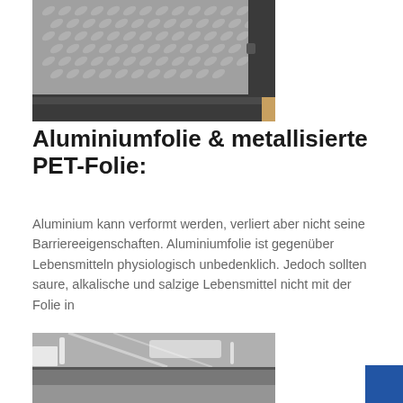[Figure (photo): Close-up photo of aluminum checker plate / diamond plate with a dark frame or edge visible, showing the raised pattern of the aluminum surface.]
Aluminiumfolie & metallisierte PET-Folie:
Aluminium kann verformt werden, verliert aber nicht seine Barriereeigenschaften. Aluminiumfolie ist gegenüber Lebensmitteln physiologisch unbedenklich. Jedoch sollten saure, alkalische und salzige Lebensmittel nicht mit der Folie in
[Figure (photo): Photo showing shiny metallic aluminum or PET foil rolls/sheets with reflective surface in an industrial setting.]